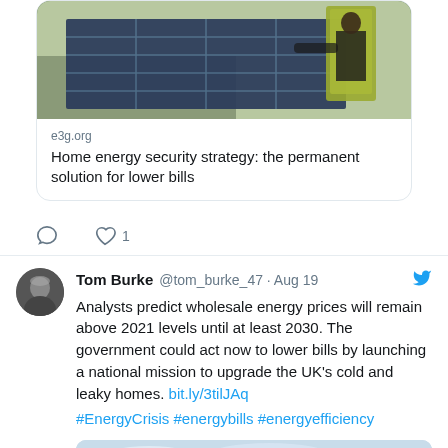[Figure (screenshot): Link card showing a photo of a worker in a high-visibility jacket installing solar panels on a roof, with the domain e3g.org and headline 'Home energy security strategy: the permanent solution for lower bills']
e3g.org
Home energy security strategy: the permanent solution for lower bills
♡ 1
Tom Burke @tom_burke_47 · Aug 19
Analysts predict wholesale energy prices will remain above 2021 levels until at least 2030. The government could act now to lower bills by launching a national mission to upgrade the UK's cold and leaky homes. bit.ly/3tilJAq #EnergyCrisis #energybills #energyefficiency
[Figure (photo): Partial image of solar panels against a blue sky, cropped at bottom of page]